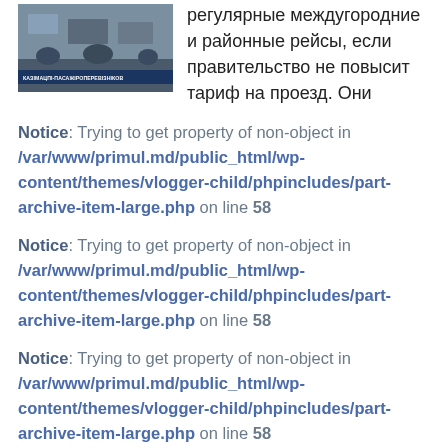[Figure (photo): Thumbnail image of a news video with people and vehicles, with a blue banner at the bottom containing Cyrillic text about passenger transport.]
регулярные междугородние и районные рейсы, если правительство не повысит тариф на проезд. Они
Notice: Trying to get property of non-object in /var/www/primul.md/public_html/wp-content/themes/vlogger-child/phpincludes/part-archive-item-large.php on line 58
Notice: Trying to get property of non-object in /var/www/primul.md/public_html/wp-content/themes/vlogger-child/phpincludes/part-archive-item-large.php on line 58
Notice: Trying to get property of non-object in /var/www/primul.md/public_html/wp-content/themes/vlogger-child/phpincludes/part-archive-item-large.php on line 58
Notice: Trying to get property of non-object in